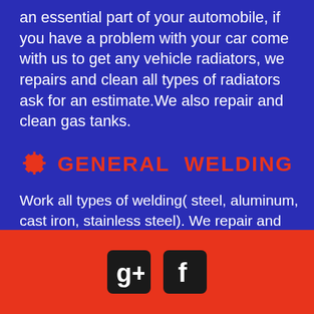an essential part of your automobile, if you have a problem with your car come with us to get any vehicle radiators, we repairs and clean all types of radiators ask for an estimate.We also repair and clean gas tanks.
GENERAL WELDING
Work all types of welding( steel, aluminum, cast iron, stainless steel). We repair and reinforce our work with all the welding you need, we can help you, come visit us, our jobs are 100 % guaranteed and our fair prices.
[Figure (logo): Google+ and Facebook social media icons on red footer background]